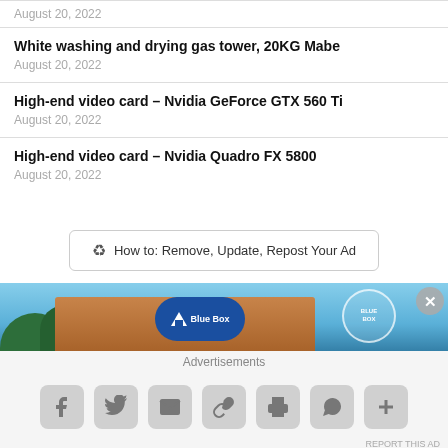August 20, 2022
White washing and drying gas tower, 20KG Mabe
August 20, 2022
High-end video card – Nvidia GeForce GTX 560 Ti
August 20, 2022
High-end video card – Nvidia Quadro FX 5800
August 20, 2022
♻ How to: Remove, Update, Repost Your Ad
[Figure (photo): Blue Box advertisement banner showing a building exterior with Blue Box logo and stamp seal]
Advertisements
Social sharing icons: Facebook, Twitter, Email, Link, Print, WhatsApp, More